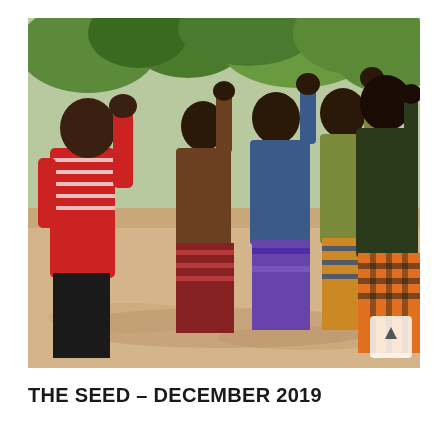[Figure (photo): Group of people standing outdoors with hands raised, appearing to worship or pray. They are in a sandy area with green trees in the background. People are wearing colorful traditional clothing including striped and plaid garments.]
THE SEED – DECEMBER 2019